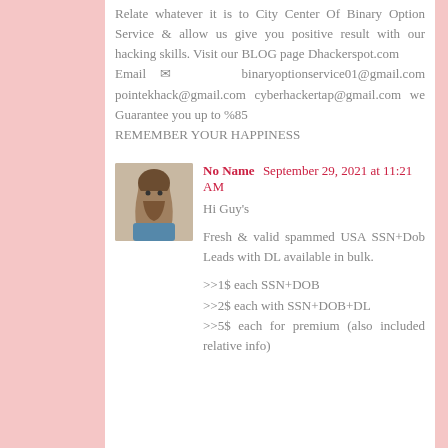Relate whatever it is to City Center Of Binary Option Service & allow us give you positive result with our hacking skills. Visit our BLOG page Dhackerspot.com Email ✉ binaryoptionservice01@gmail.com pointekhack@gmail.com cyberhackertap@gmail.com we Guarantee you up to %85 REMEMBER YOUR HAPPINESS
[Figure (photo): Avatar photo of a long-haired bearded man, used as comment profile picture]
No Name  September 29, 2021 at 11:21 AM
Hi Guy's

Fresh & valid spammed USA SSN+Dob Leads with DL available in bulk.

>>1$ each SSN+DOB
>>2$ each with SSN+DOB+DL
>>5$ each for premium (also included relative info)